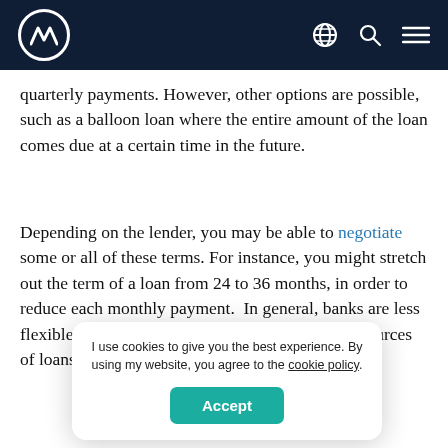M [logo] [globe icon] [search icon] [menu icon]
quarterly payments. However, other options are possible, such as a balloon loan where the entire amount of the loan comes due at a certain time in the future.
Depending on the lender, you may be able to negotiate some or all of these terms. For instance, you might stretch out the term of a loan from 24 to 36 months, in order to reduce each monthly payment.  In general, banks are less flexible in their lending requirements than other sources of loans, such as [partially obscured] programs.
I use cookies to give you the best experience. By using my website, you agree to the cookie policy. [Accept]